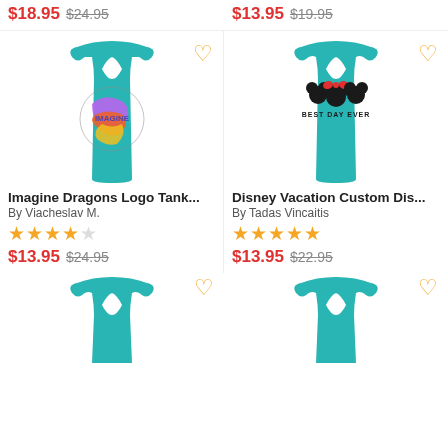$18.95 $24.95
$13.95 $19.95
[Figure (photo): Teal racerback tank top with colorful Imagine Dragons logo and heart wishlist icon]
[Figure (photo): Teal racerback tank top with Disney Minnie Mouse Best Day Ever design and heart wishlist icon]
Imagine Dragons Logo Tank...
By Viacheslav M.
★★★★☆
$13.95 $24.95
Disney Vacation Custom Dis...
By Tadas Vincaitis
★★★★★
$13.95 $22.95
[Figure (photo): Teal racerback tank top partial, cut off at bottom]
[Figure (photo): Teal racerback tank top partial, cut off at bottom]